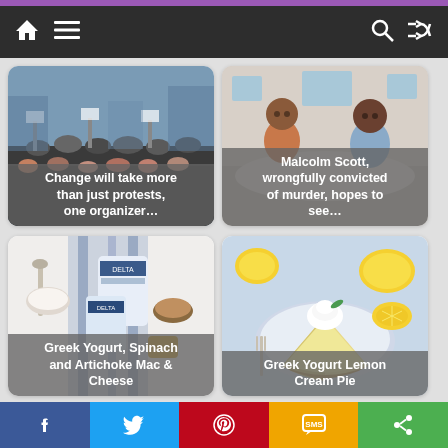Navigation bar with home, menu, search, and shuffle icons
[Figure (photo): Large crowd of protesters at a demonstration, outdoors]
Change will take more than just protests, one organizer...
[Figure (photo): Two men sitting across a table in conversation, one in orange shirt, one in blue shirt]
Malcolm Scott, wrongfully convicted of murder, hopes to see...
[Figure (photo): Greek yogurt containers (DELTA brand), nuts, honey, and blue cloth on white surface]
Greek Yogurt, Spinach and Artichoke Mac & Cheese
[Figure (photo): Slice of lemon cream pie with whipped cream on a plate, surrounded by lemons]
Greek Yogurt Lemon Cream Pie
f  Twitter  Pinterest  SMS  Share